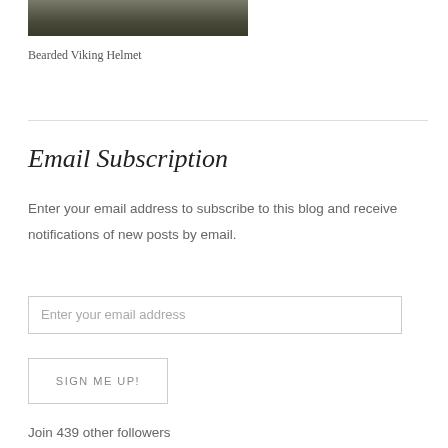[Figure (photo): Partial photo of a bearded Viking helmet, cropped at top of page]
Bearded Viking Helmet
Email Subscription
Enter your email address to subscribe to this blog and receive notifications of new posts by email.
Enter your email address
SIGN ME UP!
Join 439 other followers